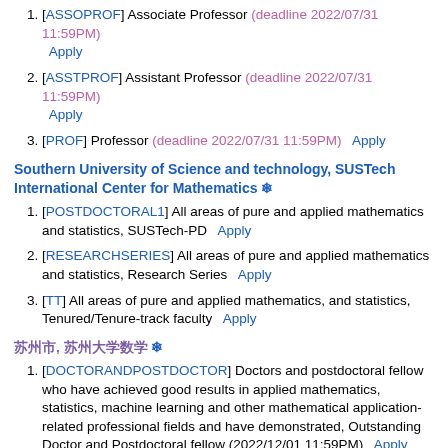[ASSOPROF] Associate Professor (deadline 2022/07/31 11:59PM) Apply
[ASSTPROF] Assistant Professor (deadline 2022/07/31 11:59PM) Apply
[PROF] Professor (deadline 2022/07/31 11:59PM) Apply
Southern University of Science and technology, SUSTech International Center for Mathematics ❄
[POSTDOCTORAL1] All areas of pure and applied mathematics and statistics, SUSTech-PD Apply
[RESEARCHSERIES] All areas of pure and applied mathematics and statistics, Research Series Apply
[TT] All areas of pure and applied mathematics, and statistics, Tenured/Tenure-track faculty Apply
苏州市, 苏州大学数学 ❄
[DOCTORANDPOSTDOCTOR] Doctors and postdoctoral fellow who have achieved good results in applied mathematics, statistics, machine learning and other mathematical application-related professional fields and have demonstrated, Outstanding Doctor and Postdoctoral fellow (2022/12/01 11:59PM) Apply
Southern University of Science and Technology, Department of Mathematics ❄
[PD] Applied Mathematics, Computational Mathematics, Algebra, Topology, Dynamical Systems, Geometry, Mathematical Biology,